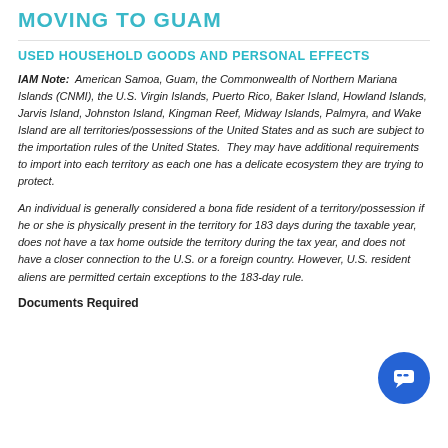MOVING TO GUAM
USED HOUSEHOLD GOODS AND PERSONAL EFFECTS
IAM Note: American Samoa, Guam, the Commonwealth of Northern Mariana Islands (CNMI), the U.S. Virgin Islands, Puerto Rico, Baker Island, Howland Islands, Jarvis Island, Johnston Island, Kingman Reef, Midway Islands, Palmyra, and Wake Island are all territories/possessions of the United States and as such are subject to the importation rules of the United States. They may have additional requirements to import into each territory as each one has a delicate ecosystem they are trying to protect.
An individual is generally considered a bona fide resident of a territory/possession if he or she is physically present in the territory for 183 days during the taxable year, does not have a tax home outside the territory during the tax year, and does not have a closer connection to the U.S. or a foreign country. However, U.S. resident aliens are permitted certain exceptions to the 183-day rule.
Documents Required